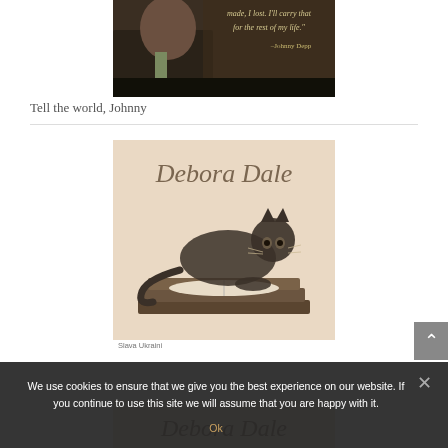[Figure (photo): Top portion of a photo showing Johnny Depp with overlaid quote text: 'made, I lost. I'll carry that for the rest of my life.' –Johnny Depp]
Tell the world, Johnny
[Figure (illustration): Debora Dale branded image with cursive 'Debora Dale' text at top and a sepia-toned illustration of a cat lying on a stack of books]
Slava Ukraini
We use cookies to ensure that we give you the best experience on our website. If you continue to use this site we will assume that you are happy with it.
Ok
[Figure (illustration): Partial view of second Debora Dale branded image with cursive 'Debora Dale' text visible at bottom of page]